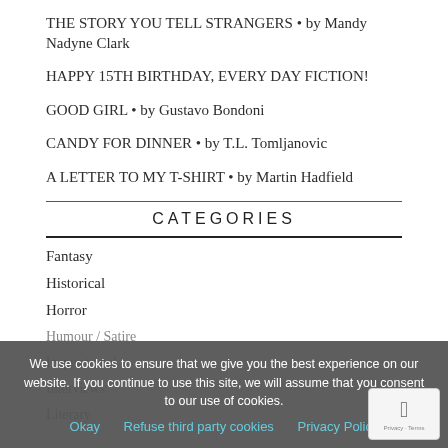THE STORY YOU TELL STRANGERS • by Mandy Nadyne Clark
HAPPY 15TH BIRTHDAY, EVERY DAY FICTION!
GOOD GIRL • by Gustavo Bondoni
CANDY FOR DINNER • by T.L. Tomljanovic
A LETTER TO MY T-SHIRT • by Martin Hadfield
CATEGORIES
Fantasy
Historical
Horror
Humour / Satire
Inspirational
Interviews
Literary
We use cookies to ensure that we give you the best experience on our website. If you continue to use this site, we will assume that you consent to our use of cookies.